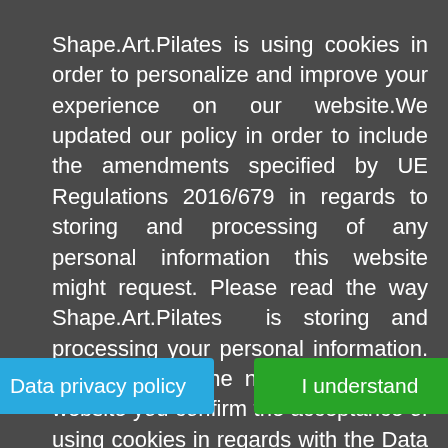Shape.Art.Pilates is using cookies in order to personalize and improve your experience on our website.We updated our policy in order to include the amendments specified by UE Regulations 2016/679 in regards to storing and processing of any personal information this website might request. Please read the way Shape.Art.Pilates is storing and processing your personal information. By continuing the navigation on this website you confirm the acceptance of using cookies in regards with the Data privacy policy. Your personal data stored on this website can be deleted anytime by following the instruction in the below link.
Data privacy policy
I understand